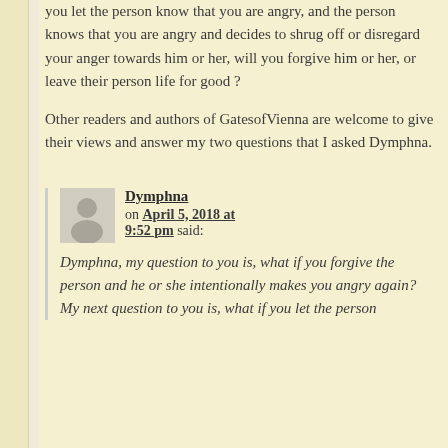you let the person know that you are angry, and the person knows that you are angry and decides to shrug off or disregard your anger towards him or her, will you forgive him or her, or leave their person life for good ?
Other readers and authors of GatesofVienna are welcome to give their views and answer my two questions that I asked Dymphna.
Dymphna on April 5, 2018 at 9:52 pm said:
Dymphna, my question to you is, what if you forgive the person and he or she intentionally makes you angry again?
My next question to you is, what if you let the person